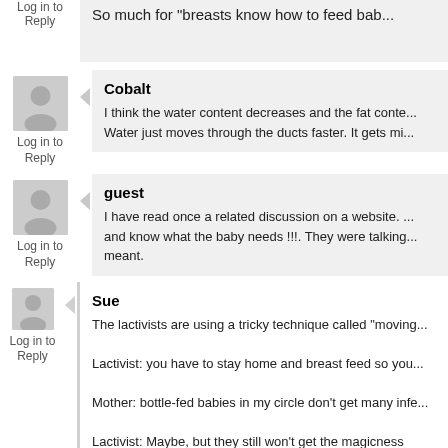Log in to Reply
So much for "breasts know how to feed bab..."
Cobalt
I think the water content decreases and the fat conte... Water just moves through the ducts faster. It gets mi...
guest
I have read once a related discussion on a website. ...and know what the baby needs !!!. They were talking...meant.
Sue
The lactivists are using a tricky technique called "moving...
Lactivist: you have to stay home and breast feed so you...
Mother: bottle-fed babies in my circle don't get many infe...
Lactivist: Maybe, but they still won't get the magicness